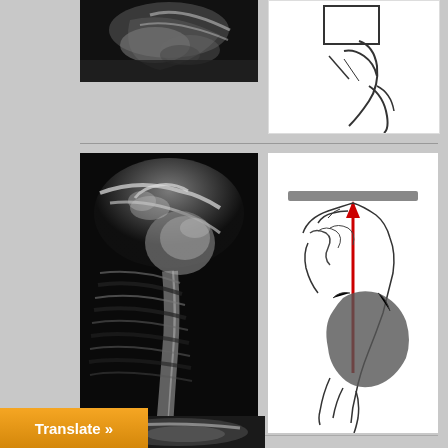[Figure (photo): X-ray image of shoulder/clavicle region, top partial view, grayscale]
[Figure (illustration): Medical line drawing showing patient positioning for shoulder X-ray, lateral view with arm position indicated]
[Figure (photo): X-ray image of shoulder and proximal humerus, full anterior-posterior view, grayscale medical radiograph]
[Figure (illustration): Medical diagram showing shoulder anatomy cross-section with a red vertical arrow indicating direction/measurement, gray horizontal reference bar at top, anatomical structures including joint and bones shown]
[Figure (photo): Partial X-ray image at bottom of page, shoulder region, grayscale]
Translate »